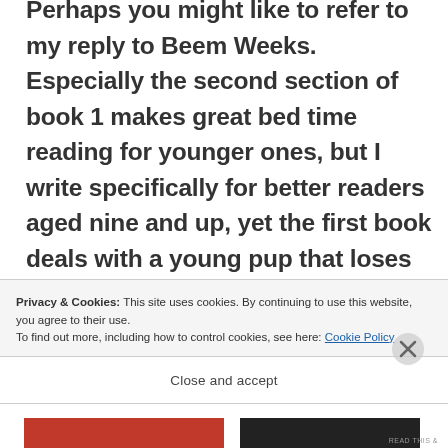Perhaps you might like to refer to my reply to Beem Weeks. Especially the second section of book 1 makes great bed time reading for younger ones, but I write specifically for better readers aged nine and up, yet the first book deals with a young pup that loses his desert family under suspicious circumstances, but he promised his first mistress to always look after vulnerable old or young bush creatures wherever he finds
Privacy & Cookies: This site uses cookies. By continuing to use this website, you agree to their use.
To find out more, including how to control cookies, see here: Cookie Policy
Close and accept